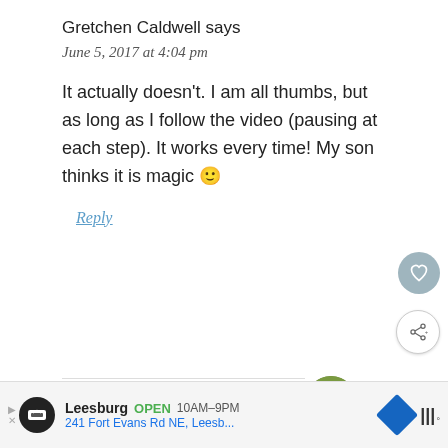Gretchen Caldwell says
June 5, 2017 at 4:04 pm
It actually doesn't. I am all thumbs, but as long as I follow the video (pausing at each step). It works every time! My son thinks it is magic 🙂
Reply
KathEats says
Leesburg OPEN 10AM–9PM 241 Fort Evans Rd NE, Leesb...